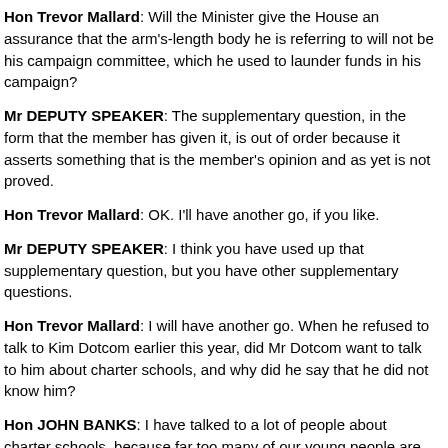Hon Trevor Mallard: Will the Minister give the House an assurance that the arm's-length body he is referring to will not be his campaign committee, which he used to launder funds in his campaign?
Mr DEPUTY SPEAKER: The supplementary question, in the form that the member has given it, is out of order because it asserts something that is the member's opinion and as yet is not proved.
Hon Trevor Mallard: OK. I'll have another go, if you like.
Mr DEPUTY SPEAKER: I think you have used up that supplementary question, but you have other supplementary questions.
Hon Trevor Mallard: I will have another go. When he refused to talk to Kim Dotcom earlier this year, did Mr Dotcom want to talk to him about charter schools, and why did he say that he did not know him?
Hon JOHN BANKS: I have talked to a lot of people about charter schools, because far too many of our young people are out of school, out of work, and out of luck. This Labour Opposition is staying in Opposition because 20 percent of kids up and down the country at